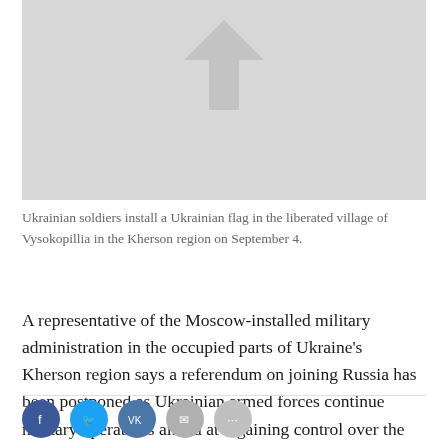[Figure (photo): Photo of Ukrainian soldiers installing a Ukrainian flag, partially visible at top of page, with light gray background.]
Ukrainian soldiers install a Ukrainian flag in the liberated village of Vysokopillia in the Kherson region on September 4.
A representative of the Moscow-installed military administration in the occupied parts of Ukraine's Kherson region says a referendum on joining Russia has been postponed as Ukrainian armed forces continue military operations aimed at regaining control over the area.